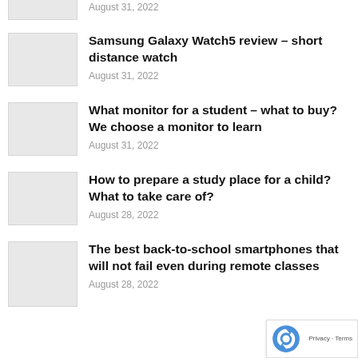[Figure (photo): Partial thumbnail image cropped at top]
August 31, 2022
[Figure (photo): Thumbnail image placeholder]
Samsung Galaxy Watch5 review – short distance watch
August 31, 2022
[Figure (photo): Thumbnail image placeholder]
What monitor for a student – what to buy? We choose a monitor to learn
August 31, 2022
[Figure (photo): Thumbnail image placeholder]
How to prepare a study place for a child? What to take care of?
August 28, 2022
[Figure (photo): Thumbnail image placeholder]
The best back-to-school smartphones that will not fail even during remote classes
August 28, 2022